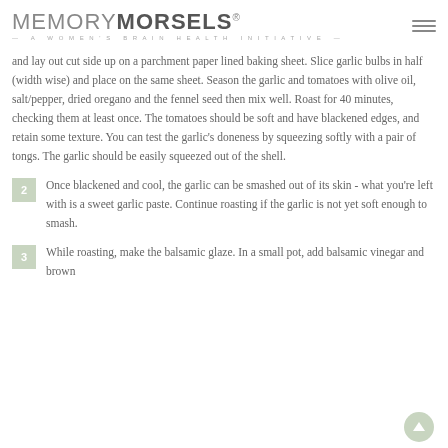MEMORY MORSELS® — A WOMEN'S BRAIN HEALTH INITIATIVE —
and lay out cut side up on a parchment paper lined baking sheet. Slice garlic bulbs in half (width wise) and place on the same sheet. Season the garlic and tomatoes with olive oil, salt/pepper, dried oregano and the fennel seed then mix well. Roast for 40 minutes, checking them at least once. The tomatoes should be soft and have blackened edges, and retain some texture. You can test the garlic's doneness by squeezing softly with a pair of tongs. The garlic should be easily squeezed out of the shell.
2 Once blackened and cool, the garlic can be smashed out of its skin - what you're left with is a sweet garlic paste. Continue roasting if the garlic is not yet soft enough to smash.
3 While roasting, make the balsamic glaze. In a small pot, add balsamic vinegar and brown